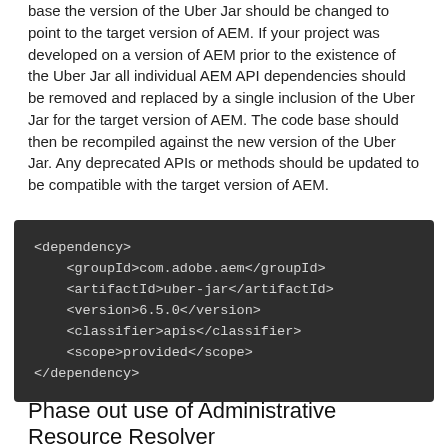base the version of the Uber Jar should be changed to point to the target version of AEM. If your project was developed on a version of AEM prior to the existence of the Uber Jar all individual AEM API dependencies should be removed and replaced by a single inclusion of the Uber Jar for the target version of AEM. The code base should then be recompiled against the new version of the Uber Jar. Any deprecated APIs or methods should be updated to be compatible with the target version of AEM.
[Figure (screenshot): Dark-themed code block showing XML Maven dependency configuration for com.adobe.aem uber-jar version 6.5.0 with apis classifier and provided scope]
Phase out use of Administrative Resource Resolver